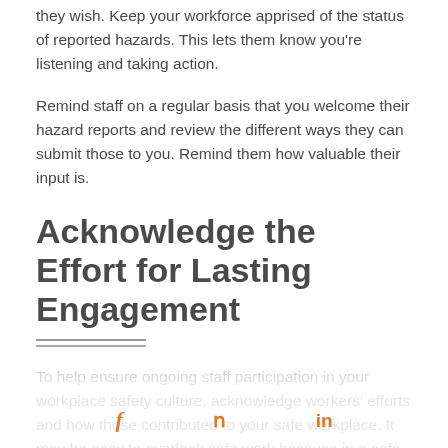they wish. Keep your workforce apprised of the status of reported hazards. This lets them know you're listening and taking action.
Remind staff on a regular basis that you welcome their hazard reports and review the different ways they can submit those to you. Remind them how valuable their input is.
Acknowledge the Effort for Lasting Engagement
To help ensure ongoing staff participation in your workplace safety culture, acknowledge workers' efforts and how those contributed to your safe workplace. It may be easy to overlook safe work because in a safe workplace, accidents...